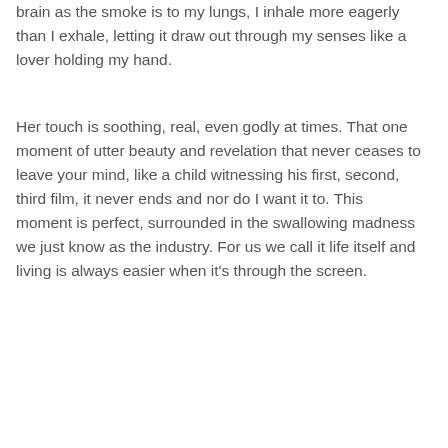brain as the smoke is to my lungs, I inhale more eagerly than I exhale, letting it draw out through my senses like a lover holding my hand.
Her touch is soothing, real, even godly at times. That one moment of utter beauty and revelation that never ceases to leave your mind, like a child witnessing his first, second, third film, it never ends and nor do I want it to. This moment is perfect, surrounded in the swallowing madness we just know as the industry. For us we call it life itself and living is always easier when it's through the screen.